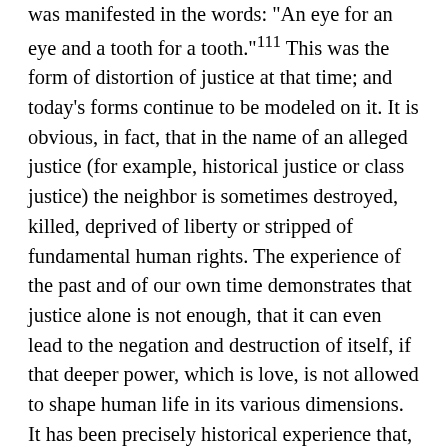was manifested in the words: 'An eye for an eye and a tooth for a tooth.'111 This was the form of distortion of justice at that time; and today's forms continue to be modeled on it. It is obvious, in fact, that in the name of an alleged justice (for example, historical justice or class justice) the neighbor is sometimes destroyed, killed, deprived of liberty or stripped of fundamental human rights. The experience of the past and of our own time demonstrates that justice alone is not enough, that it can even lead to the negation and destruction of itself, if that deeper power, which is love, is not allowed to shape human life in its various dimensions. It has been precisely historical experience that, among other things, has led to the formulation of the saying: summum ius, summa iniuria. This statement does not detract from the value of justice and does not minimize the significance of the order that is based upon it; it only indicates, under another aspect, the need to draw from the powers of the spirit which